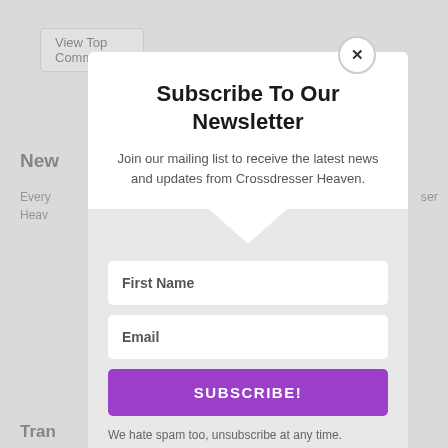View Top Commentors
New
Every ... ser Heav
Vie
Subscribe To Our Newsletter
Join our mailing list to receive the latest news and updates from Crossdresser Heaven.
First Name
Email
SUBSCRIBE!
We hate spam too, unsubscribe at any time.
Trar
Trans ... discu ... famil
Trans
Trans
Trans